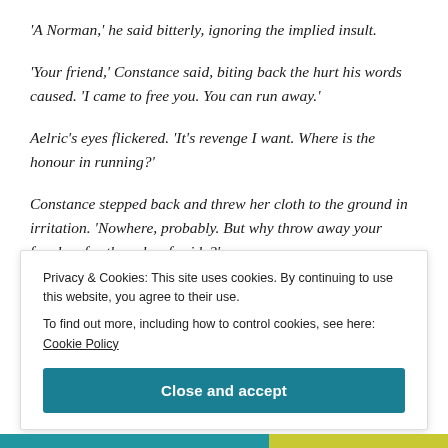'A Norman,' he said bitterly, ignoring the implied insult.
'Your friend,' Constance said, biting back the hurt his words caused. 'I came to free you. You can run away.'
Aelric's eyes flickered. 'It's revenge I want. Where is the honour in running?'
Constance stepped back and threw her cloth to the ground in irritation. 'Nowhere, probably. But why throw away your freedom for the sake of pride?'
Privacy & Cookies: This site uses cookies. By continuing to use this website, you agree to their use.
To find out more, including how to control cookies, see here: Cookie Policy
Close and accept